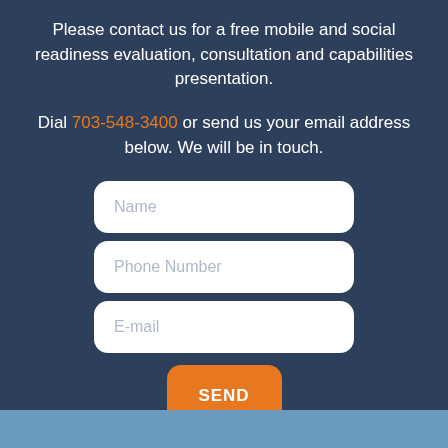Please contact us for a free mobile and social readiness evaluation, consultation and capabilities presentation.
Dial 703-548-3400 or send us your email address below. We will be in touch.
[Figure (other): Contact form with three input fields (Name, Phone Number, E-mail) and an orange SEND button]